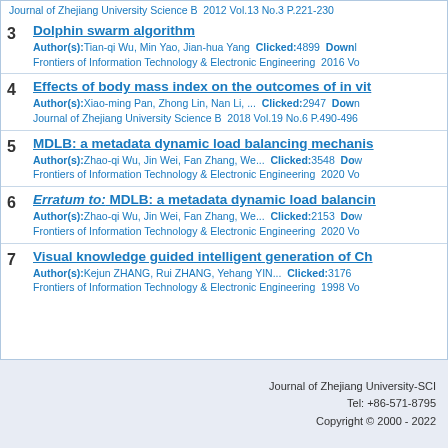Journal of Zhejiang University Science B  2012 Vol.13 No.3 P.221-230
3  Dolphin swarm algorithm
Author(s):Tian-qi Wu, Min Yao, Jian-hua Yang  Clicked:4899  Down...
Frontiers of Information Technology & Electronic Engineering  2016 Vo...
4  Effects of body mass index on the outcomes of in vit...
Author(s):Xiao-ming Pan, Zhong Lin, Nan Li, ...  Clicked:2947  Down...
Journal of Zhejiang University Science B  2018 Vol.19 No.6 P.490-496
5  MDLB: a metadata dynamic load balancing mechanis...
Author(s):Zhao-qi Wu, Jin Wei, Fan Zhang, We...  Clicked:3548  Do...
Frontiers of Information Technology & Electronic Engineering  2020 Vo...
6  Erratum to: MDLB: a metadata dynamic load balancin...
Author(s):Zhao-qi Wu, Jin Wei, Fan Zhang, We...  Clicked:2153  Do...
Frontiers of Information Technology & Electronic Engineering  2020 Vo...
7  Visual knowledge guided intelligent generation of Ch...
Author(s):Kejun ZHANG, Rui ZHANG, Yehang YIN...  Clicked:3176
Frontiers of Information Technology & Electronic Engineering  1998 Vo...
Journal of Zhejiang University-SCI...
Tel: +86-571-8795...
Copyright © 2000 - 2022